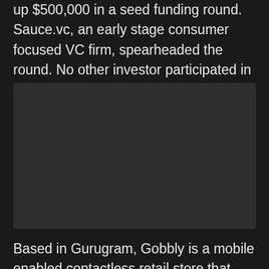up $500,000 in a seed funding round. Sauce.vc, an early stage consumer focused VC firm, spearheaded the round. No other investor participated in the funding round.
[Figure (photo): Dark rectangular image placeholder, approximately 16:9 ratio, with a dark grey/charcoal background and no visible content.]
Based in Gurugram, Gobbly is a mobile enabled contactless retail store that provides fresh produce